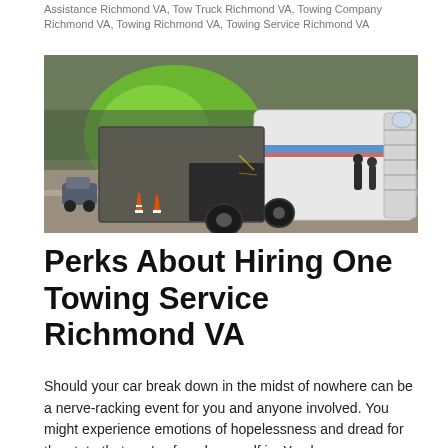Assistance Richmond VA, Tow Truck Richmond VA, Towing Company Richmond VA, Towing Richmond VA, Towing Service Richmond VA
[Figure (photo): A large truck/semi-truck rolled over on a road, lying on its side. People stand nearby inspecting the scene. Traffic cones visible. Green tree line in background with bright green light effect.]
Perks About Hiring One Towing Service Richmond VA
Should your car break down in the midst of nowhere can be a nerve-racking event for you and anyone involved. You might experience emotions of hopelessness and dread for the state that you've found yourself in. You have